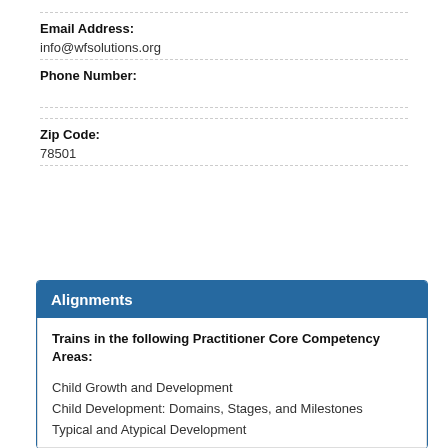Email Address:
info@wfsolutions.org
Phone Number:
Zip Code:
78501
Alignments
Trains in the following Practitioner Core Competency Areas:
Child Growth and Development
Child Development: Domains, Stages, and Milestones
Typical and Atypical Development